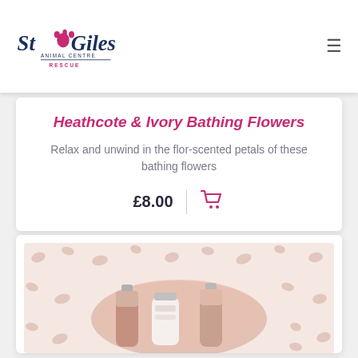My Account  Basket  DONATE
[Figure (logo): St Giles Animal Centre Rescue logo with paw print icon]
Heathcote & Ivory Bathing Flowers
Relax and unwind in the flor-scented petals of these bathing flowers
£8.00
[Figure (photo): Gift set with leopard print box containing three beauty products in a round tray]